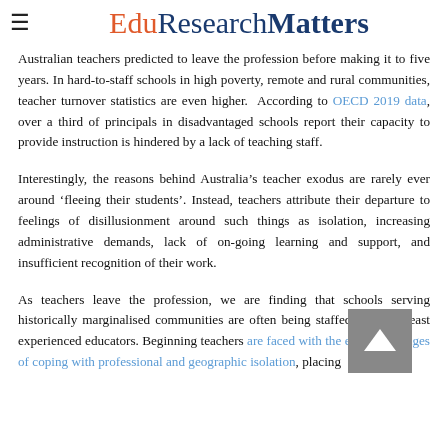EduResearchMatters
Australian teachers predicted to leave the profession before making it to five years. In hard-to-staff schools in high poverty, remote and rural communities, teacher turnover statistics are even higher.  According to OECD 2019 data, over a third of principals in disadvantaged schools report their capacity to provide instruction is hindered by a lack of teaching staff.
Interestingly, the reasons behind Australia’s teacher exodus are rarely ever around ‘fleeing their students’. Instead, teachers attribute their departure to feelings of disillusionment around such things as isolation, increasing administrative demands, lack of on-going learning and support, and insufficient recognition of their work.
As teachers leave the profession, we are finding that schools serving historically marginalised communities are often being staffed with the least experienced educators. Beginning teachers are faced with the extra challenges of coping with professional and geographic isolation, placing